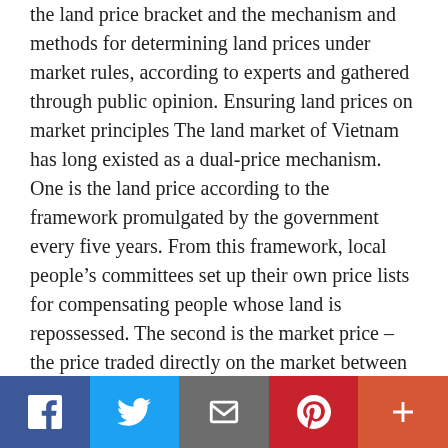the land price bracket and the mechanism and methods for determining land prices under market rules, according to experts and gathered through public opinion. Ensuring land prices on market principles The land market of Vietnam has long existed as a dual-price mechanism. One is the land price according to the framework promulgated by the government every five years. From this framework, local people's committees set up their own price lists for compensating people whose land is repossessed. The second is the market price – the price traded directly on the market between the seller and the buyer, and the market price is
[Figure (other): Social sharing bar with Facebook, Twitter, Email, Pinterest, and More (+) buttons]